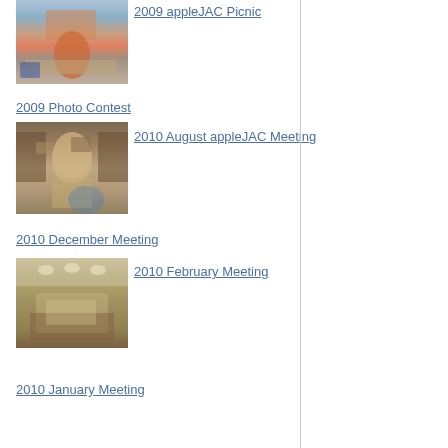[Figure (photo): Photo of a person in an orange shirt at what appears to be a picnic or indoor event with tables and food]
2009 appleJAC Picnic
2009 Photo Contest
[Figure (photo): Photo of a man in a light-colored shirt gesturing, with shelves and items visible in the background]
2010 August appleJAC Meeting
2010 December Meeting
[Figure (photo): Blurry photo of a meeting room with people seated and a presentation screen visible]
2010 February Meeting
2010 January Meeting